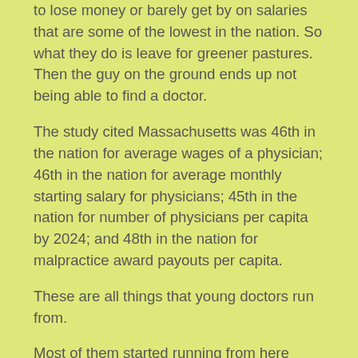to lose money or barely get by on salaries that are some of the lowest in the nation. So what they do is leave for greener pastures. Then the guy on the ground ends up not being able to find a doctor.
The study cited Massachusetts was 46th in the nation for average wages of a physician; 46th in the nation for average monthly starting salary for physicians; 45th in the nation for number of physicians per capita by 2024; and 48th in the nation for malpractice award payouts per capita.
These are all things that young doctors run from.
Most of them started running from here years ago before those numbers were so depressing.
It took me more than five years to find another primary care doctor who was actually a doctor. Nurse Practitioners are often all that's available to the common man or woman. Those folks do the best they can, and sometimes are very good, but they're not doctors. I am certain more than a few people, like I do, have